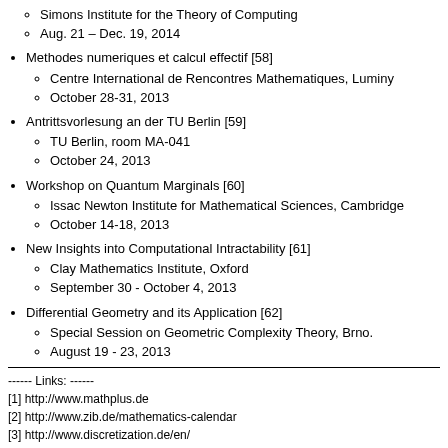Simons Institute for the Theory of Computing
Aug. 21 – Dec. 19, 2014
Methodes numeriques et calcul effectif [58]
Centre International de Rencontres Mathematiques, Luminy
October 28-31, 2013
Antrittsvorlesung an der TU Berlin [59]
TU Berlin, room MA-041
October 24, 2013
Workshop on Quantum Marginals [60]
Issac Newton Institute for Mathematical Sciences, Cambridge
October 14-18, 2013
New Insights into Computational Intractability [61]
Clay Mathematics Institute, Oxford
September 30 - October 4, 2013
Differential Geometry and its Application [62]
Special Session on Geometric Complexity Theory, Brno.
August 19 - 23, 2013
------ Links: ------
[1] http://www.mathplus.de
[2] http://www.zib.de/mathematics-calendar
[3] http://www.discretization.de/en/
[4] http://www.mathplus.de/...